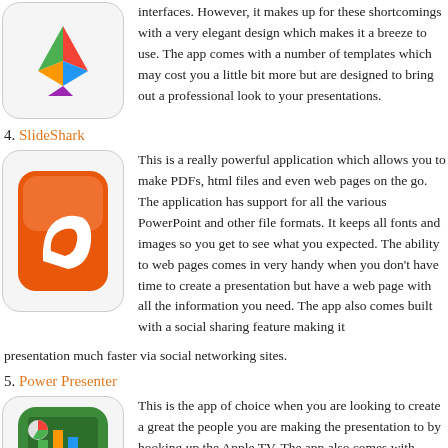interfaces. However, it makes up for these shortcomings with a very elegant design which makes it a breeze to use. The app comes with a number of templates which may cost you a little bit more but are designed to bring out a professional look to your presentations.
4. SlideShark
[Figure (illustration): SlideShark app icon - orange rounded square with a white shark fin shape]
This is a really powerful application which allows you to make PDFs, html files and even web pages on the go. The application has support for all the various PowerPoint and other file formats. It keeps all fonts and images so you get to see what you expected. The ability to web pages comes in very handy when you don't have time to create a presentation but have a web page with all the information you need. The app also comes built with a social sharing feature making it presentation much faster via social networking sites.
5. Power Presenter
[Figure (illustration): Power Presenter app icon - green rounded square with a person presenting charts]
This is the app of choice when you are looking to create a great the people you are making the presentation to by hooking up the Apple TV. The app also comes with excellent support for PDF a lot of features in it. You can also mark the screen with your finger highlight or indicate something which is a great addition when